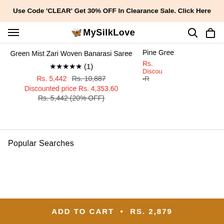Use Code 'CLEAR' Get 30% OFF In Clearance Sale. Click Here
MySilkLove
Green Mist Zari Woven Banarasi Saree
★★★★★ (1)
Rs. 5,442  Rs. 10,887
Discounted price Rs. 4,353.60
Rs. 5,442 (20% OFF)
Pine Gree
Popular Searches
ADD TO CART • RS. 2,879